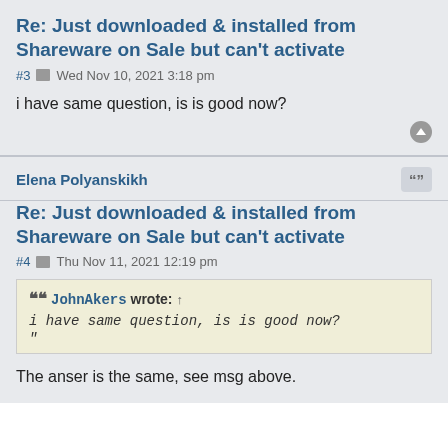Re: Just downloaded & installed from Shareware on Sale but can't activate
#3  Wed Nov 10, 2021 3:18 pm
i have same question, is is good now?
Elena Polyanskikh
Re: Just downloaded & installed from Shareware on Sale but can't activate
#4  Thu Nov 11, 2021 12:19 pm
JohnAkers wrote: ↑
i have same question, is is good now?
"
The anser is the same, see msg above.